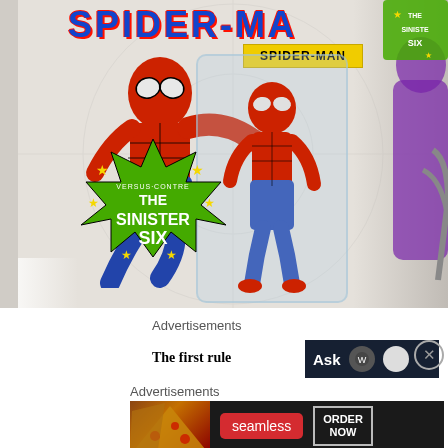[Figure (photo): A Spider-Man action figure in blister pack packaging. The box art shows a classic comic-style Spider-Man illustration pointing outward, with 'SPIDER-MAN' in blue lettering at the top. A yellow badge reads 'SPIDER-MAN'. A green starburst badge reads 'VERSUS/CONTRE THE SINISTER SIX' with yellow stars. The right side of the box shows another villain in purple. The action figure itself is in a clear plastic blister showing a red and blue Spider-Man figure.]
Advertisements
The first rule
[Figure (screenshot): Partial advertisement banner with dark navy background showing 'Ask' text and WordPress-style logo with a circular avatar]
[Figure (other): Close button (circled X) on the right side]
Advertisements
[Figure (screenshot): Seamless food delivery advertisement showing pizza slices on dark background, red Seamless logo, and 'ORDER NOW' button with white border]